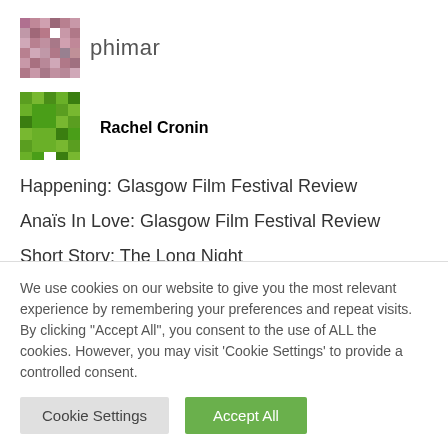[Figure (logo): Phimar website logo - geometric pixel art pattern in mauve/pink tones, with text 'phimar' next to it]
[Figure (logo): Rachel Cronin author avatar - geometric pixel art pattern in green tones]
Rachel Cronin
Happening: Glasgow Film Festival Review
Anaïs In Love: Glasgow Film Festival Review
Short Story: The Long Night
We use cookies on our website to give you the most relevant experience by remembering your preferences and repeat visits. By clicking "Accept All", you consent to the use of ALL the cookies. However, you may visit 'Cookie Settings' to provide a controlled consent.
Cookie Settings | Accept All